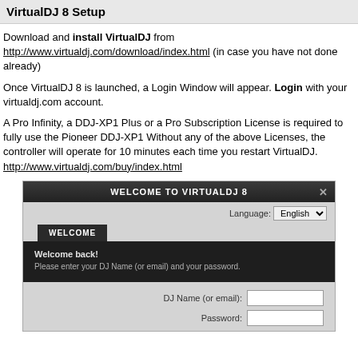VirtualDJ 8 Setup
Download and install VirtualDJ from http://www.virtualdj.com/download/index.html (in case you have not done already)
Once VirtualDJ 8 is launched, a Login Window will appear. Login with your virtualdj.com account.
A Pro Infinity, a DDJ-XP1 Plus or a Pro Subscription License is required to fully use the Pioneer DDJ-XP1 Without any of the above Licenses, the controller will operate for 10 minutes each time you restart VirtualDJ.
http://www.virtualdj.com/buy/index.html
[Figure (screenshot): Screenshot of the VirtualDJ 8 welcome/login dialog window showing title bar 'WELCOME TO VIRTUALDJ 8', language selector set to English, a WELCOME tab with dark panel showing 'Welcome back!' and 'Please enter your DJ Name (or email) and your password.', and form fields for DJ Name (or email) and Password.]